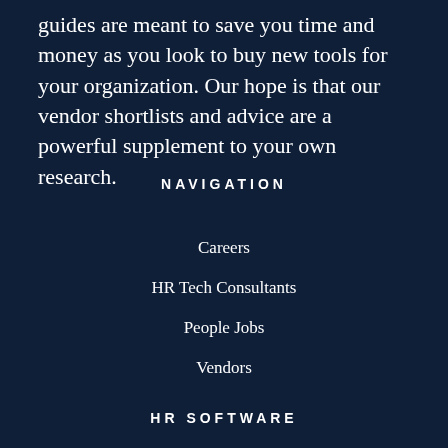guides are meant to save you time and money as you look to buy new tools for your organization. Our hope is that our vendor shortlists and advice are a powerful supplement to your own research.
NAVIGATION
Careers
HR Tech Consultants
People Jobs
Vendors
HR SOFTWARE